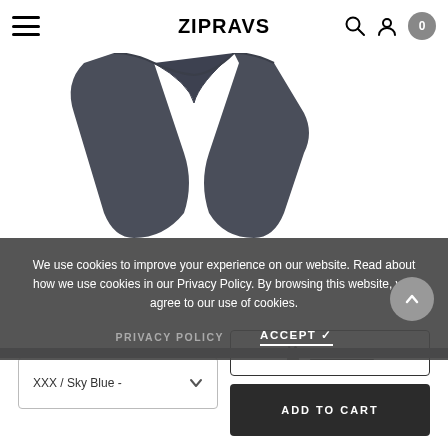ZIPRAVS
[Figure (photo): Dark grey athletic shorts photographed from above against white background, showing the waistband and leg openings]
We use cookies to improve your experience on our website. Read about how we use cookies in our Privacy Policy. By browsing this website, you agree to our use of cookies.
PRIVACY POLICY
ACCEPT ✓
XXX / Sky Blue -
Size Chart
ADD TO CART